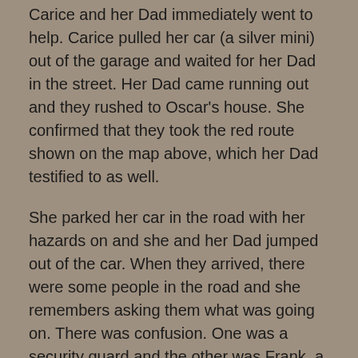Carice and her Dad immediately went to help. Carice pulled her car (a silver mini) out of the garage and waited for her Dad in the street. Her Dad came running out and they rushed to Oscar's house. She confirmed that they took the red route shown on the map above, which her Dad testified to as well.
She parked her car in the road with her hazards on and she and her Dad jumped out of the car. When they arrived, there were some people in the road and she remembers asking them what was going on. There was confusion. One was a security guard and the other was Frank, a man that worked at Oscar's house.
Roux asks Carice approximately how long it took from the time her Mom told her about the phone call to the time they arrived at the scene. She